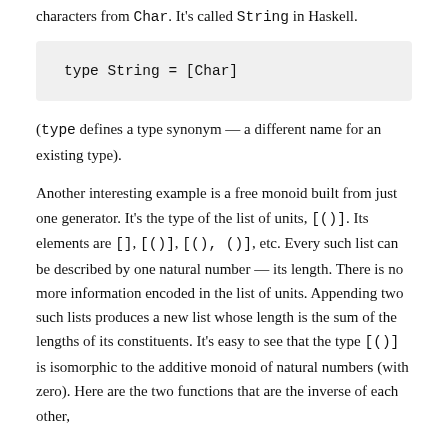characters from Char. It's called String in Haskell.
(type defines a type synonym — a different name for an existing type).
Another interesting example is a free monoid built from just one generator. It's the type of the list of units, [()]. Its elements are [], [()], [(), ()], etc. Every such list can be described by one natural number — its length. There is no more information encoded in the list of units. Appending two such lists produces a new list whose length is the sum of the lengths of its constituents. It's easy to see that the type [()] is isomorphic to the additive monoid of natural numbers (with zero). Here are the two functions that are the inverse of each other,